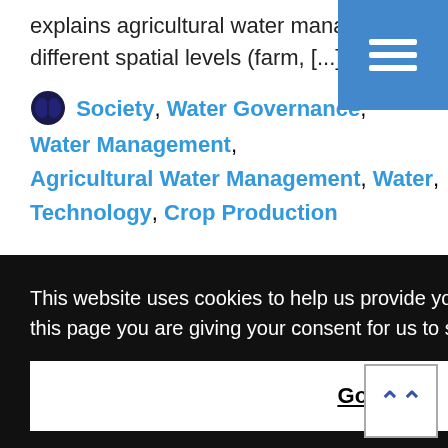explains agricultural water management different spatial levels (farm, [...])
Society, Water Governance, Water Management, Agricultural Water Management, Water, Technology, Crop Production
This website uses cookies to help us provide you a better experience. By clicking any link on this page you are giving your consent for us to set cookies.  Learn more
Got it!